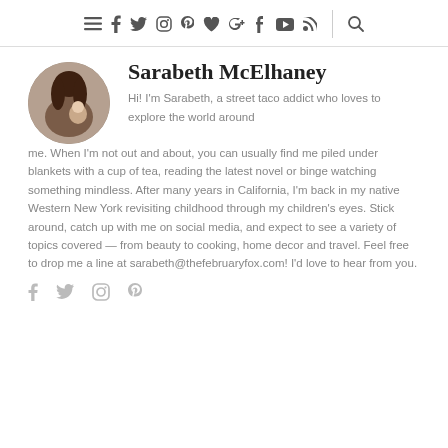Navigation bar with social media icons and search
Sarabeth McElhaney
Hi! I'm Sarabeth, a street taco addict who loves to explore the world around me. When I'm not out and about, you can usually find me piled under blankets with a cup of tea, reading the latest novel or binge watching something mindless. After many years in California, I'm back in my native Western New York revisiting childhood through my children's eyes. Stick around, catch up with me on social media, and expect to see a variety of topics covered — from beauty to cooking, home decor and travel. Feel free to drop me a line at sarabeth@thefebruaryfox.com! I'd love to hear from you.
[Figure (other): Social media icons row: Facebook, Twitter, Instagram, Pinterest]